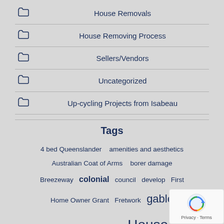House Removals
House Removing Process
Sellers/Vendors
Uncategorized
Up-cycling Projects from Isabeau
Tags
4 bed Queenslander   amenities and aesthetics   Australian Coat of Arms   borer damage   Breezeway   colonial   council   develop   First Home Owner Grant   Fretwork   gable   Gabled Queenslander   House   for removal